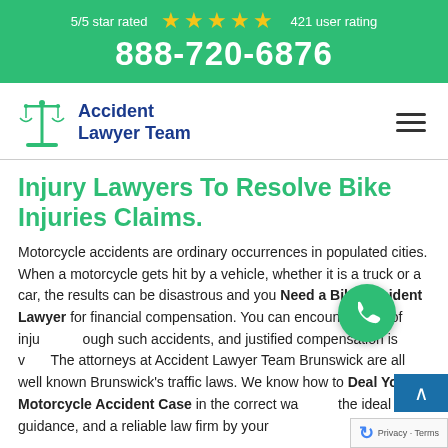5/5 star rated ★★★★★ 421 user rating
888-720-6876
[Figure (logo): Accident Lawyer Team logo with balance scale icon]
Injury Lawyers To Resolve Bike Injuries Claims.
Motorcycle accidents are ordinary occurrences in populated cities. When a motorcycle gets hit by a vehicle, whether it is a truck or a car, the results can be disastrous and you Need a Bike Accident Lawyer for financial compensation. You can encounter a lot of injuries through such accidents, and justified compensation is vital. The attorneys at Accident Lawyer Team Brunswick are all well known Brunswick's traffic laws. We know how to Deal Your Motorcycle Accident Case in the correct way with the ideal legal guidance, and a reliable law firm by your